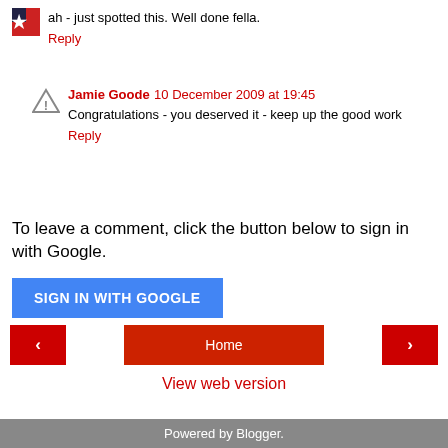ah - just spotted this. Well done fella.
Reply
Jamie Goode  10 December 2009 at 19:45
Congratulations - you deserved it - keep up the good work
Reply
To leave a comment, click the button below to sign in with Google.
SIGN IN WITH GOOGLE
Home
View web version
Powered by Blogger.